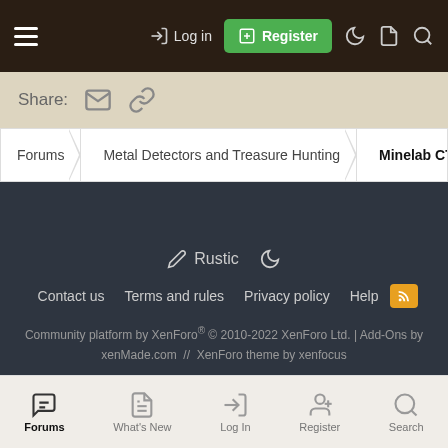Log in | Register
Share:
Forums > Metal Detectors and Treasure Hunting > Minelab CTX 3030 Dete
Rustic | Contact us | Terms and rules | Privacy policy | Help | Community platform by XenForo® © 2010-2022 XenForo Ltd. | Add-Ons by xenMade.com // XenForo theme by xenfocus
Forums | What's New | Log In | Register | Search